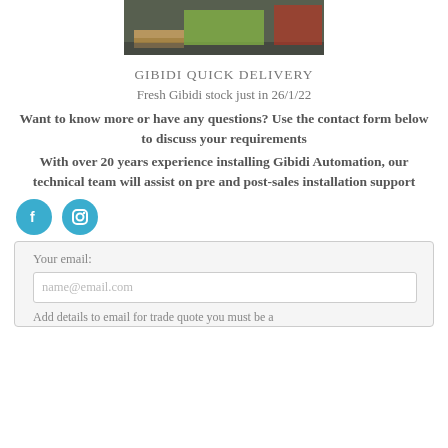[Figure (photo): Photo of Gibidi stock on pallets in a warehouse, partially visible at top of page]
GIBIDI QUICK DELIVERY
Fresh Gibidi stock just in 26/1/22
Want to know more or have any questions? Use the contact form below to discuss your requirements
With over 20 years experience installing Gibidi Automation, our technical team will assist on pre and post-sales installation support
[Figure (logo): Facebook and Instagram social media icons (circular teal/blue buttons)]
Your email:
name@email.com
Add details to email for trade quote you must be a